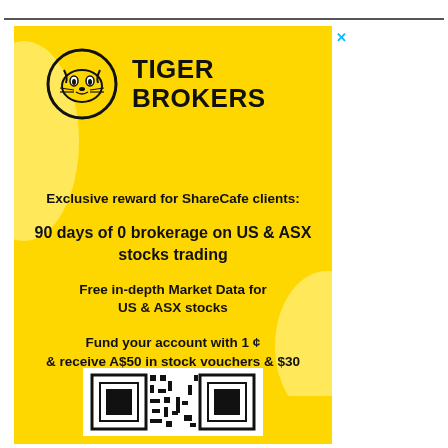[Figure (infographic): Tiger Brokers advertisement on yellow background. Shows Tiger Brokers logo (circle with tiger face icon and bold text TIGER BROKERS), promotional text about exclusive rewards for ShareCafe clients: 90 days of 0 brokerage on US & ASX stocks trading, Free in-depth Market Data for US & ASX stocks, Fund your account with 1¢ & receive A$50 in stock vouchers & $30 free ZIP shares. QR code at the bottom.]